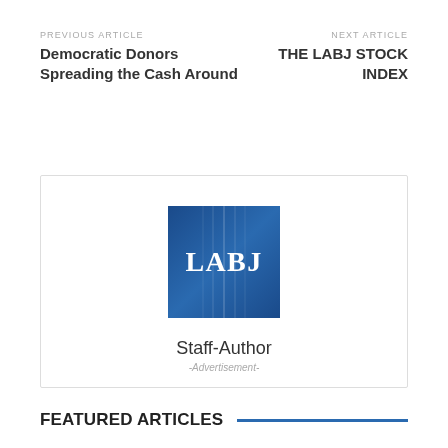PREVIOUS ARTICLE
Democratic Donors Spreading the Cash Around
NEXT ARTICLE
THE LABJ STOCK INDEX
[Figure (logo): LABJ logo — blue square with white serif text 'LABJ']
Staff-Author
-Advertisement-
FEATURED ARTICLES